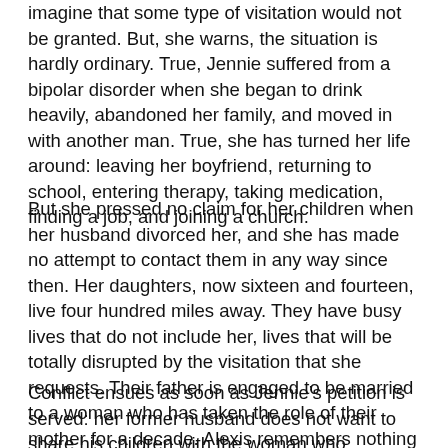imagine that some type of visitation would not be granted. But, she warns, the situation is hardly ordinary. True, Jennie suffered from a bipolar disorder when she began to drink heavily, abandoned her family, and moved in with another man. True, she has turned her life around: leaving her boyfriend, returning to school, entering therapy, taking medication, finding a job, and joining a church.
But she pressed no claim for her children when her husband divorced her, and she has made no attempt to contact them in any way since then. Her daughters, now sixteen and fourteen, live four hundred miles away. They have busy lives that do not include her, lives that will be totally disrupted by the visitation that she requests. Their father is engaged to be married to a woman who has taken the role of their mother for a decade. Alexis remembers nothing good about Jennie. Christa recalls nothing at all.
Conflict ensues as soon as Jennie’s petition is served: her former husband does not want to share his children with the woman who deserted him; her children have no interest in knowing the mother who abandoned them, and her father